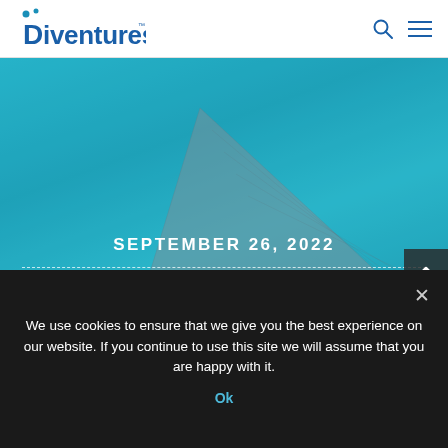[Figure (logo): Diventures logo with blue water drops above the D]
[Figure (illustration): Pyramid and sphinx silhouette against teal/blue sky background]
SEPTEMBER 26, 2022
OCTOBER 10, 2022
We use cookies to ensure that we give you the best experience on our website. If you continue to use this site we will assume that you are happy with it.
Ok